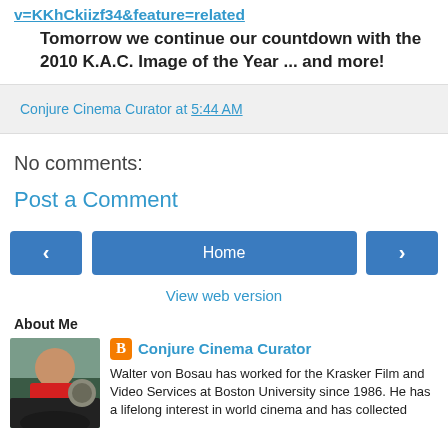v=KKhCkiizf34&feature=related
Tomorrow we continue our countdown with the 2010 K.A.C. Image of the Year ... and more!
Conjure Cinema Curator at 5:44 AM
No comments:
Post a Comment
‹  Home  ›
View web version
About Me
[Figure (photo): Profile photo of a man in a red shirt standing near a statue]
Conjure Cinema Curator
Walter von Bosau has worked for the Krasker Film and Video Services at Boston University since 1986. He has a lifelong interest in world cinema and has collected